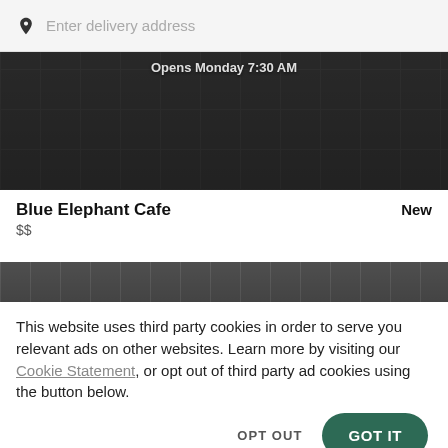Enter delivery address
[Figure (photo): Dark restaurant interior with text overlay 'Opens Monday 7:30 AM']
Blue Elephant Cafe
New
$$
[Figure (photo): Partial view of food dishes at bottom of restaurant card]
This website uses third party cookies in order to serve you relevant ads on other websites. Learn more by visiting our Cookie Statement, or opt out of third party ad cookies using the button below.
OPT OUT
GOT IT